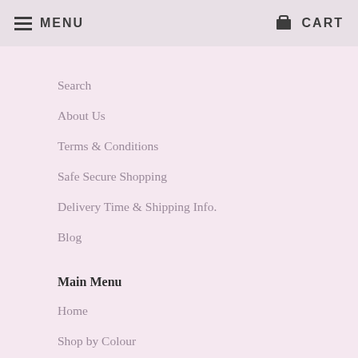MENU   CART
Search
About Us
Terms & Conditions
Safe Secure Shopping
Delivery Time & Shipping Info.
Blog
Main Menu
Home
Shop by Colour
Ceremony
Reception & Events
Accessories